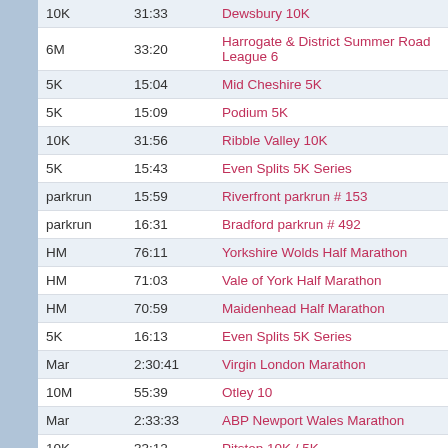| Distance | Time | Race |
| --- | --- | --- |
| 10K | 31:33 | Dewsbury 10K |
| 6M | 33:20 | Harrogate & District Summer Road League 6 |
| 5K | 15:04 | Mid Cheshire 5K |
| 5K | 15:09 | Podium 5K |
| 10K | 31:56 | Ribble Valley 10K |
| 5K | 15:43 | Even Splits 5K Series |
| parkrun | 15:59 | Riverfront parkrun # 153 |
| parkrun | 16:31 | Bradford parkrun # 492 |
| HM | 76:11 | Yorkshire Wolds Half Marathon |
| HM | 71:03 | Vale of York Half Marathon |
| HM | 70:59 | Maidenhead Half Marathon |
| 5K | 16:13 | Even Splits 5K Series |
| Mar | 2:30:41 | Virgin London Marathon |
| 10M | 55:39 | Otley 10 |
| Mar | 2:33:33 | ABP Newport Wales Marathon |
| 10K | 33:12 | Pitstop 10K / 5K |
| Mar | 2:28:28 | Asda Foundation Yorkshire Marathon |
| HM | 71:55 | Brass Monkey Half Marathon |
| 20M | 2:05:00 | Snap 20 |